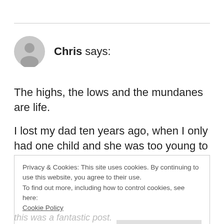Chris says:
The highs, the lows and the mundanes are life.
I lost my dad ten years ago, when I only had one child and she was too young to
Privacy & Cookies: This site uses cookies. By continuing to use this website, you agree to their use.
To find out more, including how to control cookies, see here:
Cookie Policy
Close and accept
this was a fantastic post.